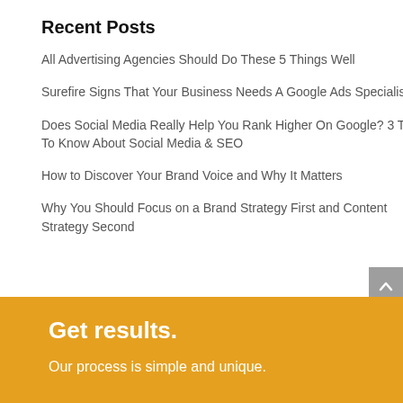Recent Posts
All Advertising Agencies Should Do These 5 Things Well
Surefire Signs That Your Business Needs A Google Ads Specialist
Does Social Media Really Help You Rank Higher On Google? 3 Things To Know About Social Media & SEO
How to Discover Your Brand Voice and Why It Matters
Why You Should Focus on a Brand Strategy First and Content Strategy Second
Get results.
Our process is simple and unique.